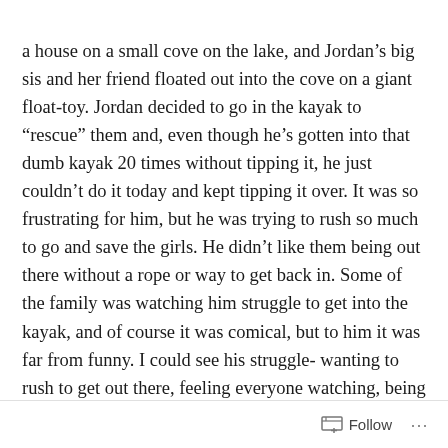a house on a small cove on the lake, and Jordan's big sis and her friend floated out into the cove on a giant float-toy. Jordan decided to go in the kayak to “rescue” them and, even though he’s gotten into that dumb kayak 20 times without tipping it, he just couldn’t do it today and kept tipping it over. It was so frustrating for him, but he was trying to rush so much to go and save the girls. He didn’t like them being out there without a rope or way to get back in. Some of the family was watching him struggle to get into the kayak, and of course it was comical, but to him it was far from funny. I could see his struggle- wanting to rush to get out there, feeling everyone watching, being so embarrassed that he kept tipping over. It was just an overall tough time, but again, Jim and I were so impressed
Follow ...